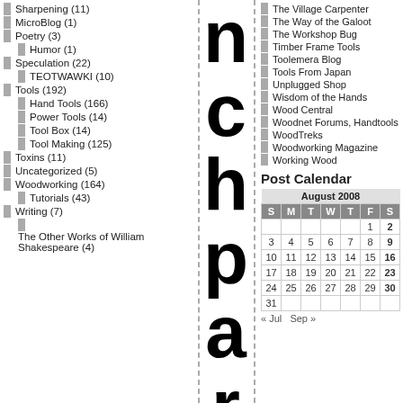Sharpening (11)
MicroBlog (1)
Poetry (3)
Humor (1)
Speculation (22)
TEOTWAWKI (10)
Tools (192)
Hand Tools (166)
Power Tools (14)
Tool Box (14)
Tool Making (125)
Toxins (11)
Uncategorized (5)
Woodworking (164)
Tutorials (43)
Writing (7)
The Other Works of William Shakespeare (4)
The Village Carpenter
The Way of the Galoot
The Workshop Bug
Timber Frame Tools
Toolemera Blog
Tools From Japan
Unplugged Shop
Wisdom of the Hands
Wood Central
Woodnet Forums, Handtools
WoodTreks
Woodworking Magazine
Working Wood
Post Calendar
| S | M | T | W | T | F | S |
| --- | --- | --- | --- | --- | --- | --- |
|  |  |  |  |  | 1 | 2 |
| 3 | 4 | 5 | 6 | 7 | 8 | 9 |
| 10 | 11 | 12 | 13 | 14 | 15 | 16 |
| 17 | 18 | 19 | 20 | 21 | 22 | 23 |
| 24 | 25 | 26 | 27 | 28 | 29 | 30 |
| 31 |  |  |  |  |  |  |